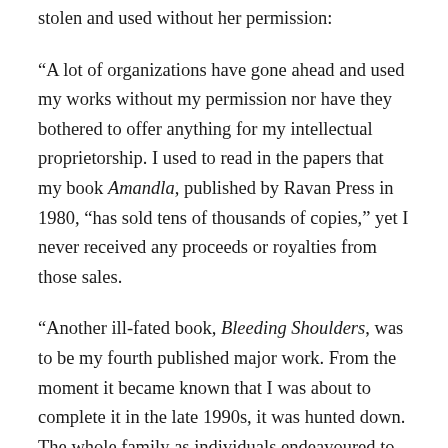stolen and used without her permission:
“A lot of organizations have gone ahead and used my works without my permission nor have they bothered to offer anything for my intellectual proprietorship. I used to read in the papers that my book Amandla, published by Ravan Press in 1980, “has sold tens of thousands of copies,” yet I never received any proceeds or royalties from those sales.
“Another ill-fated book, Bleeding Shoulders, was to be my fourth published major work. From the moment it became known that I was about to complete it in the late 1990s, it was hunted down. The whole family endeavoured to intercept it...